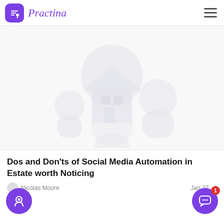Practina
[Figure (illustration): Faded grayscale placeholder illustration showing overlapping silhouettes of people/profiles, used as article hero image background]
Dos and Don'ts of Social Media Automation in Estate worth Noticing
Nicolas Moore   Jan 27, ...